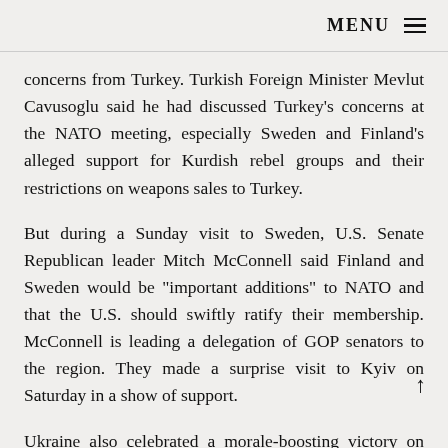MENU
concerns from Turkey. Turkish Foreign Minister Mevlut Cavusoglu said he had discussed Turkey's concerns at the NATO meeting, especially Sweden and Finland's alleged support for Kurdish rebel groups and their restrictions on weapons sales to Turkey.
But during a Sunday visit to Sweden, U.S. Senate Republican leader Mitch McConnell said Finland and Sweden would be "important additions" to NATO and that the U.S. should swiftly ratify their membership. McConnell is leading a delegation of GOP senators to the region. They made a surprise visit to Kyiv on Saturday in a show of support.
Ukraine also celebrated a morale-boosting victory on Saturday night in the Eurovision Song Contest. The